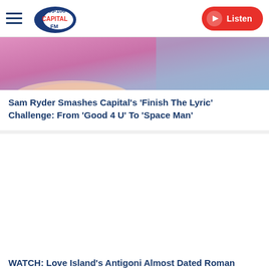Capital FM 95-106 — Listen
[Figure (photo): Partial view of a colorful TV set or studio background — pink and blue tones]
Sam Ryder Smashes Capital's 'Finish The Lyric' Challenge: From 'Good 4 U' To 'Space Man'
[Figure (photo): Group selfie of five young people smiling in a radio studio with blue walls; EXCLUSIVE badge overlay]
WATCH: Love Island's Antigoni Almost Dated Roman